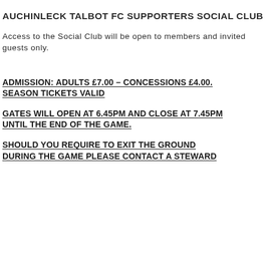AUCHINLECK TALBOT FC SUPPORTERS SOCIAL CLUB
Access to the Social Club will be open to members and invited guests only.
ADMISSION: ADULTS £7.00 – CONCESSIONS £4.00. SEASON TICKETS VALID
GATES WILL OPEN AT 6.45PM AND CLOSE AT 7.45PM UNTIL THE END OF THE GAME.
SHOULD YOU REQUIRE TO EXIT THE GROUND DURING THE GAME PLEASE CONTACT A STEWARD